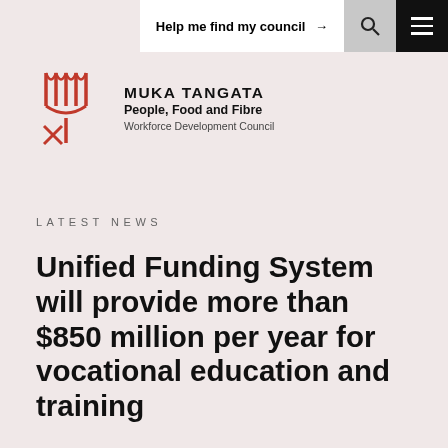Help me find my council →
[Figure (logo): Muka Tangata Workforce Development Council logo — stylized red fork/wheat symbol with text: MUKA TANGATA, People, Food and Fibre, Workforce Development Council]
LATEST NEWS
Unified Funding System will provide more than $850 million per year for vocational education and training